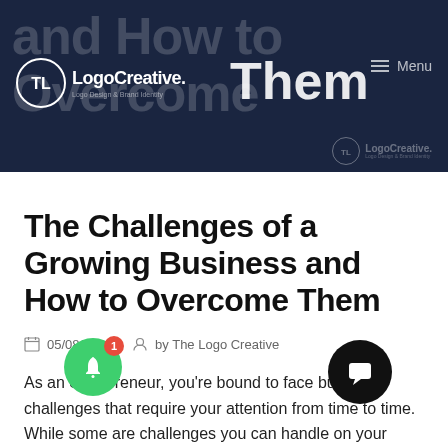[Figure (screenshot): Hero banner image with dark navy background showing partial text 'and How to Overcome Them', The Logo Creative logo/branding, and Menu navigation]
The Challenges of a Growing Business and How to Overcome Them
05/08/2020   by The Logo Creative
As an entrepreneur, you're bound to face business challenges that require your attention from time to time. While some are challenges you can handle on your own, some of them may require you to work with professionals. In this article we discuss The Challenges of a Growing Business and How to Overcome Them.